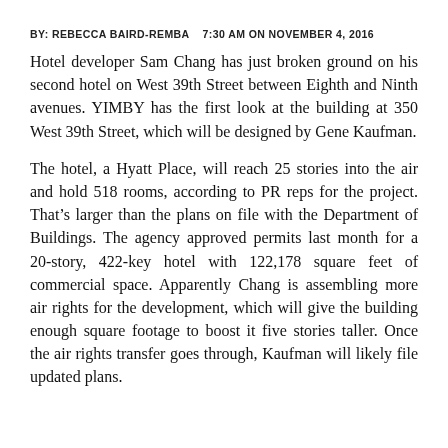BY: REBECCA BAIRD-REMBA   7:30 AM ON NOVEMBER 4, 2016
Hotel developer Sam Chang has just broken ground on his second hotel on West 39th Street between Eighth and Ninth avenues. YIMBY has the first look at the building at 350 West 39th Street, which will be designed by Gene Kaufman.
The hotel, a Hyatt Place, will reach 25 stories into the air and hold 518 rooms, according to PR reps for the project. That’s larger than the plans on file with the Department of Buildings. The agency approved permits last month for a 20-story, 422-key hotel with 122,178 square feet of commercial space. Apparently Chang is assembling more air rights for the development, which will give the building enough square footage to boost it five stories taller. Once the air rights transfer goes through, Kaufman will likely file updated plans.